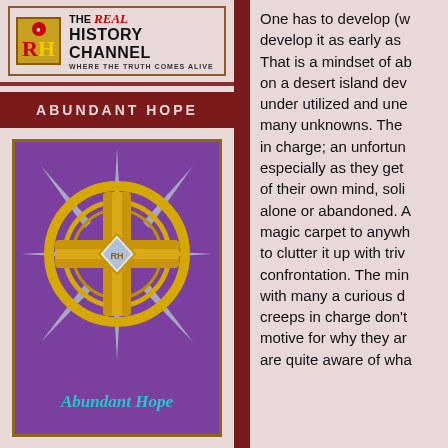[Figure (logo): The Real History Channel logo with RH letters in red/yellow on gold background, with tagline WHERE THE TRUTH COMES ALIVE]
ABUNDANT HOPE
[Figure (illustration): Abundant Hope logo: gold compass/cross star design on purple background with cursive 'Abundant Hope' text at bottom]
One has to develop (w... develop it as early as ... That is a mindset of ab... on a desert island dev... under utilized and une... many unknowns. The ... in charge; an unfortun... especially as they get ... of their own mind, soli... alone or abandoned. A... magic carpet to anywh... to clutter it up with triv... confrontation. The min... with many a curious d... creeps in charge don't... motive for why they ar... are quite aware of wha...